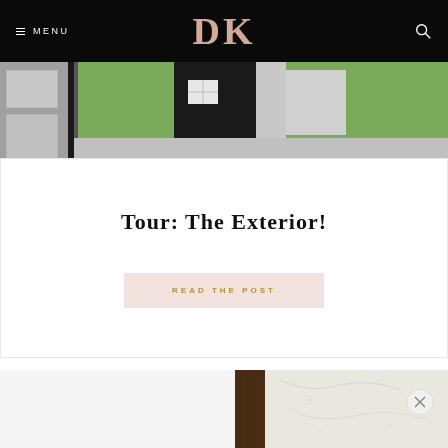MENU | DK | [search]
[Figure (photo): Partial view of a house floor plan / architectural rendering showing gray concrete areas, green lawn sections, white walls, and dark structures]
Tour: The Exterior!
READ THE POST
[Figure (photo): Close-up photo showing interior materials: a dark walnut wood panel in the center, white/cream marble slab on the right with subtle veining, and white wall on the left. Bottom portion shows white ceramic dishes/bowls.]